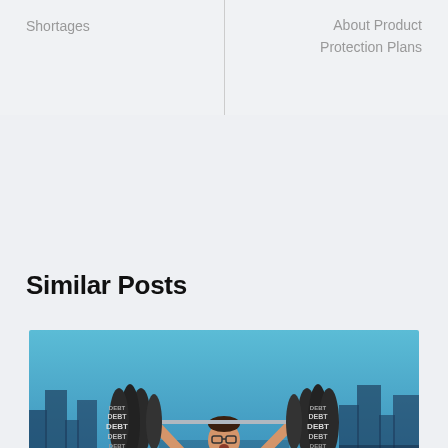Shortages
About Product Protection Plans
Similar Posts
[Figure (photo): A man in a white shirt and dark tie lifting a heavy barbell overhead, with barbell plates labeled 'DEBT' stacked on both sides. The background shows a blue-toned cityscape.]